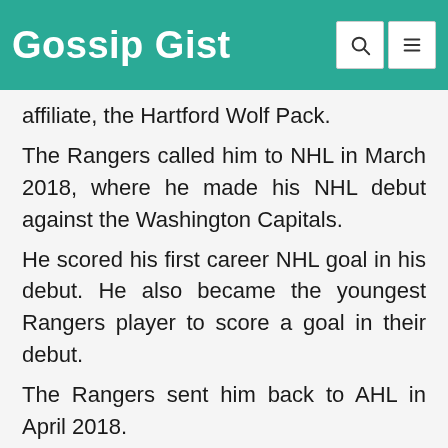Gossip Gist
affiliate, the Hartford Wolf Pack.
The Rangers called him to NHL in March 2018, where he made his NHL debut against the Washington Capitals.
He scored his first career NHL goal in his debut. He also became the youngest Rangers player to score a goal in their debut.
The Rangers sent him back to AHL in April 2018.
Andersson started the 2018-19 season in